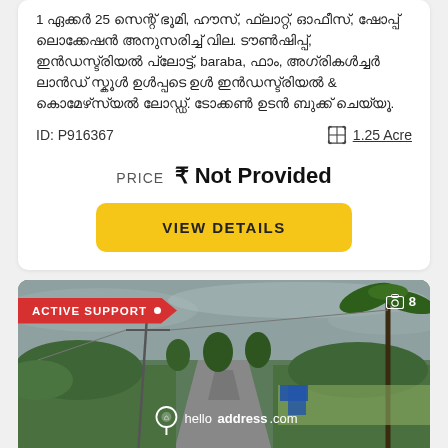1 ഏക്കർ 25 സെന്റ് ഭൂമി, ഹൗസ്, ഫ്ലാറ്റ്, ഓഫീസ്, ഷോപ്പ് ലൊക്കേഷൻ അനുസരിച്ച് വില. ടൗൺഷിപ്പ്, ഇൻഡസ്ട്രിയൽ പ്ലോട്ട്, baraba, ഫാം, അഗ്രികൾച്ചർ ലാൻഡ് സ്കൂൾ ഉൾപ്പടെ ഇൻഡസ്ട്രിയൽ & കൊമേഴ്‌സ്യൽ ലോഡ്ഡ്. ടോക്കൺ ഉടൻ ബുക്ക് ചെയ്യൂ.
ID: P916367
1.25 Acre
PRICE ₹ Not Provided
VIEW DETAILS
[Figure (photo): Road through green rural landscape with palm trees and fields on a cloudy day. Shows a narrow road going into the distance flanked by tropical vegetation. Has 'ACTIVE SUPPORT' badge and 'helloaddress.com' watermark. Photo count shows 8 images.]